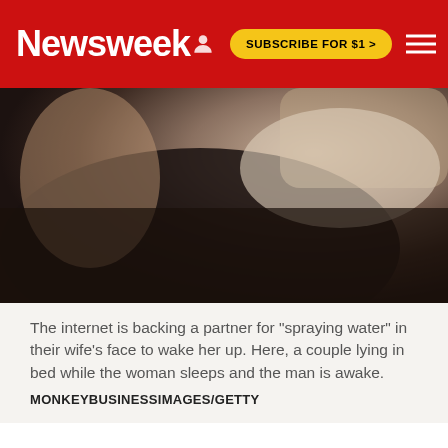Newsweek | SUBSCRIBE FOR $1 >
[Figure (photo): A couple lying in bed, woman asleep, man awake, dark moody lighting]
The internet is backing a partner for "spraying water" in their wife's face to wake her up. Here, a couple lying in bed while the woman sleeps and the man is awake.
MONKEYBUSINESSIMAGES/GETTY